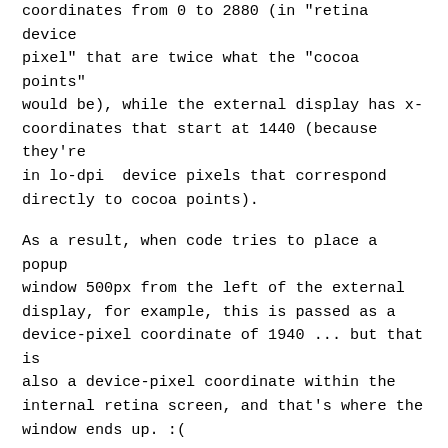coordinates from 0 to 2880 (in "retina device pixel" that are twice what the "cocoa points" would be), while the external display has x-coordinates that start at 1440 (because they're in lo-dpi  device pixels that correspond directly to cocoa points).
As a result, when code tries to place a popup window 500px from the left of the external display, for example, this is passed as a device-pixel coordinate of 1940 ... but that is also a device-pixel coordinate within the internal retina screen, and that's where the window ends up. :(
In the initial hidpi bugs, we fixed this for window creation, so that when we persist and restore window positions they reappear in the right place, but we need to do the same for the methods that move windows around on the (global) desktop space, as screen specific